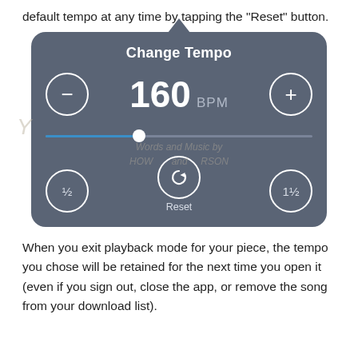default tempo at any time by tapping the "Reset" button.
[Figure (screenshot): A 'Change Tempo' UI popup showing 160 BPM with minus and plus circle buttons, a horizontal slider partially filled in blue, and three bottom buttons: 1/2, Reset (with circular arrow icon), and 1½. Background is dark blue-grey with white text. A small upward triangle pointer sits at the top center.]
When you exit playback mode for your piece, the tempo you chose will be retained for the next time you open it (even if you sign out, close the app, or remove the song from your download list).